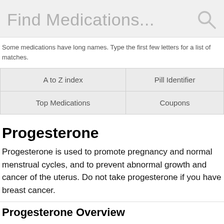[Figure (screenshot): Search bar with placeholder text 'Find Medications...' and a search icon on the right, on a light grey background]
Some medications have long names. Type the first few letters for a list of matches.
| A to Z index | Pill Identifier |
| Top Medications | Coupons |
Progesterone
Progesterone is used to promote pregnancy and normal menstrual cycles, and to prevent abnormal growth and cancer of the uterus. Do not take progesterone if you have breast cancer.
Progesterone Overview